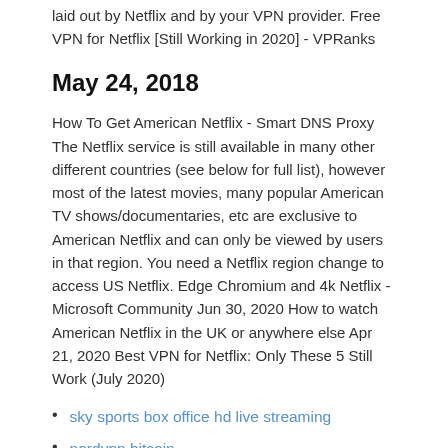laid out by Netflix and by your VPN provider. Free VPN for Netflix [Still Working in 2020] - VPRanks
May 24, 2018
How To Get American Netflix - Smart DNS Proxy The Netflix service is still available in many other different countries (see below for full list), however most of the latest movies, many popular American TV shows/documentaries, etc are exclusive to American Netflix and can only be viewed by users in that region. You need a Netflix region change to access US Netflix. Edge Chromium and 4k Netflix - Microsoft Community Jun 30, 2020 How to watch American Netflix in the UK or anywhere else Apr 21, 2020 Best VPN for Netflix: Only These 5 Still Work (July 2020)
sky sports box office hd live streaming
nordvpn bitcoin
123movies sur kodi